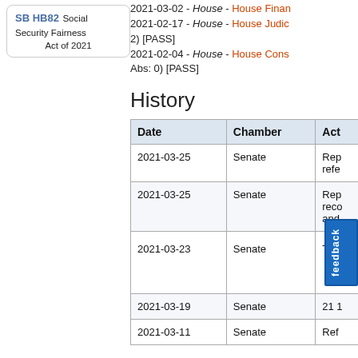SB HB82 Social Security Fairness Act of 2021
2021-03-02 - House - House Finance
2021-02-17 - House - House Judiciary 2) [PASS]
2021-02-04 - House - House Const Abs: 0) [PASS]
History
| Date | Chamber | Action |
| --- | --- | --- |
| 2021-03-25 | Senate | Rep... refe... |
| 2021-03-25 | Senate | Rep... reco... and... |
| 2021-03-23 | Senate | The... |
| 2021-03-19 | Senate | 21 ... |
| 2021-03-11 | Senate | Ref... |